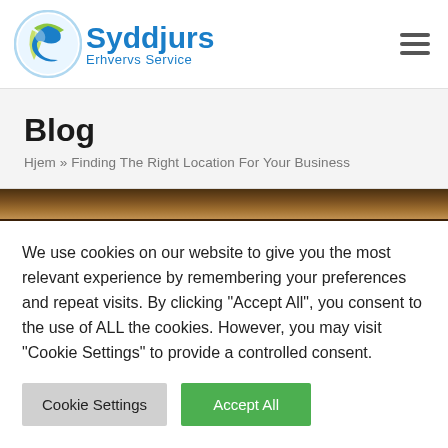[Figure (logo): Syddjurs Erhvervs Service logo with circular icon and blue text]
Blog
Hjem » Finding The Right Location For Your Business
[Figure (photo): Narrow horizontal strip of a dark brown/wood tone image]
We use cookies on our website to give you the most relevant experience by remembering your preferences and repeat visits. By clicking "Accept All", you consent to the use of ALL the cookies. However, you may visit "Cookie Settings" to provide a controlled consent.
Cookie Settings | Accept All